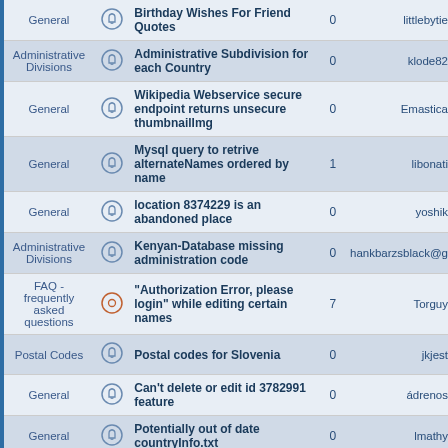| Category |  | Title | Replies | Last Post |
| --- | --- | --- | --- | --- |
| General |  | Birthday Wishes For Friend Quotes | 0 | littlebytie |
| Administrative Divisions |  | Administrative Subdivision for each Country | 0 | klode82 |
| General |  | Wikipedia Webservice secure endpoint returns unsecure thumbnailImg | 0 | Emastica |
| General |  | Mysql query to retrive alternateNames ordered by name | 1 | libonati |
| General |  | location 8374229 is an abandoned place | 0 | yoshik |
| Administrative Divisions |  | Kenyan-Database missing administration code | 0 | hankbarzsblack@g |
| FAQ - frequently asked questions |  | "Authorization Error, please login" while editing certain names | 7 | Torguy |
| Postal Codes |  | Postal codes for Slovenia | 0 | jkjest |
| General |  | Can't delete or edit id 3782991 feature | 0 | ádrenos |
| General |  | Potentially out of date countryInfo.txt | 0 | lmathy |
| General |  | Children endpoints `totalResultsCount` does not align with actual result count | 0 | carterskriv |
| Postal Codes |  | FR Postal codes out of date | 0 | rouz |
| General |  | duplicate location in israel | 0 | yoshik |